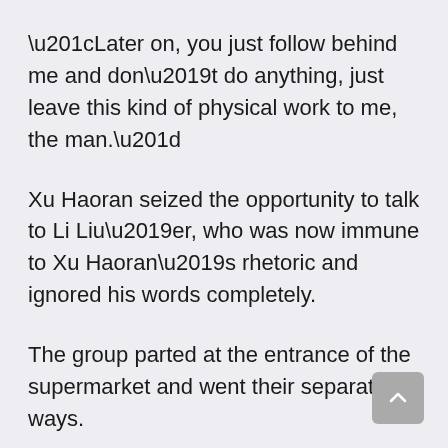“Later on, you just follow behind me and don’t do anything, just leave this kind of physical work to me, the man.”
Xu Haoran seized the opportunity to talk to Li Liu’er, who was now immune to Xu Haoran’s rhetoric and ignored his words completely.
The group parted at the entrance of the supermarket and went their separate ways.